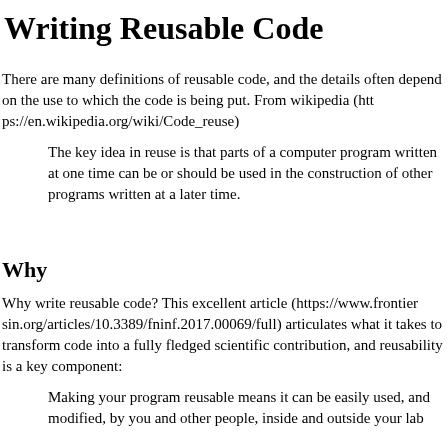Writing Reusable Code
There are many definitions of reusable code, and the details often depend on the use to which the code is being put. From wikipedia (https://en.wikipedia.org/wiki/Code_reuse)
The key idea in reuse is that parts of a computer program written at one time can be or should be used in the construction of other programs written at a later time.
Why
Why write reusable code? This excellent article (https://www.frontiersin.org/articles/10.3389/fninf.2017.00069/full) articulates what it takes to transform code into a fully fledged scientific contribution, and reusability is a key component:
Making your program reusable means it can be easily used, and modified, by you and other people, inside and outside your lab